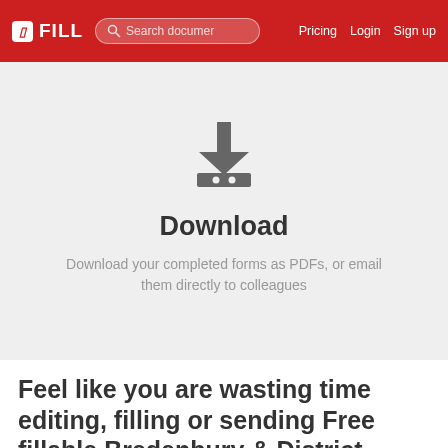FILL | Search documents | Pricing | Login | Sign up
[Figure (illustration): Download icon: arrow pointing downward into a tray with two dots]
Download
Download your completed forms as PDFs, or email them directly to colleagues
Feel like you are wasting time editing, filling or sending Free fillable Bredenbury & District Group Parish Council PDF forms PDF forms?